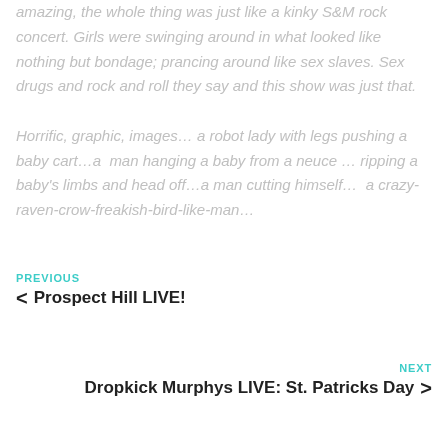amazing, the whole thing was just like a kinky S&M rock concert. Girls were swinging around in what looked like nothing but bondage; prancing around like sex slaves. Sex drugs and rock and roll they say and this show was just that.
Horrific, graphic, images… a robot lady with legs pushing a baby cart…a  man hanging a baby from a neuce … ripping a baby's limbs and head off…a man cutting himself…  a crazy-raven-crow-freakish-bird-like-man…
PREVIOUS
< Prospect Hill LIVE!
NEXT
Dropkick Murphys LIVE: St. Patricks Day >